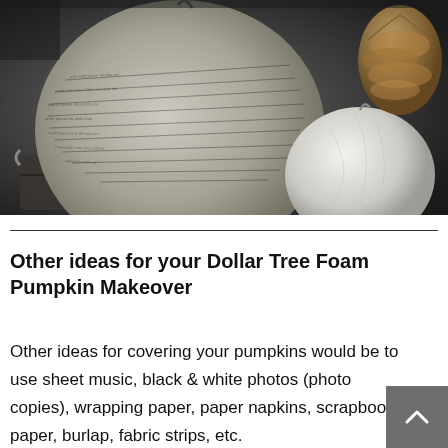[Figure (photo): Dark moody photograph of pumpkins wrapped in book page text paper, with a white pumpkin and pinecone, arranged in a rustic wooden crate or tray]
Other ideas for your Dollar Tree Foam Pumpkin Makeover
Other ideas for covering your pumpkins would be to use sheet music, black & white photos (photo copies), wrapping paper, paper napkins, scrapbook paper, burlap, fabric strips, etc.